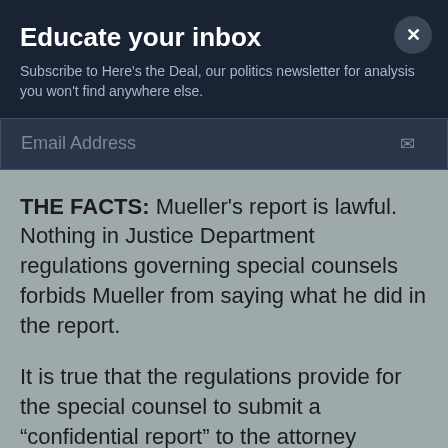Educate your inbox
Subscribe to Here's the Deal, our politics newsletter for analysis you won't find anywhere else.
Email Address
THE FACTS: Mueller's report is lawful. Nothing in Justice Department regulations governing special counsels forbids Mueller from saying what he did in the report.
It is true that the regulations provide for the special counsel to submit a “confidential report” to the attorney general explaining his decisions to recommend for or against a prosecution. But it was Attorney General